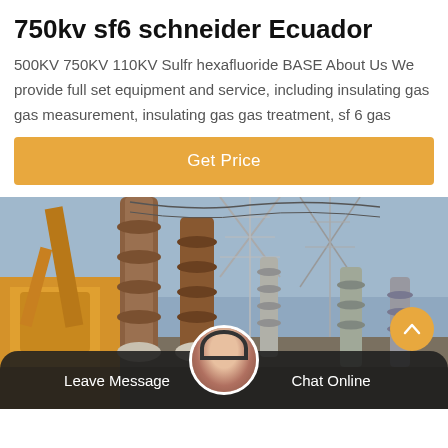750kv sf6 schneider Ecuador
500KV 750KV 110KV Sulfr hexafluoride BASE About Us We provide full set equipment and service, including insulating gas gas measurement, insulating gas gas treatment, sf 6 gas
[Figure (other): Orange 'Get Price' call-to-action button bar]
[Figure (photo): Photo of a high-voltage electrical substation with large insulators/bushings, power lines, and a yellow crane or heavy equipment vehicle on the left side. Sky visible in background.]
[Figure (other): Bottom navigation bar with 'Leave Message' on left, customer service avatar in center, 'Chat Online' on right, on dark rounded background.]